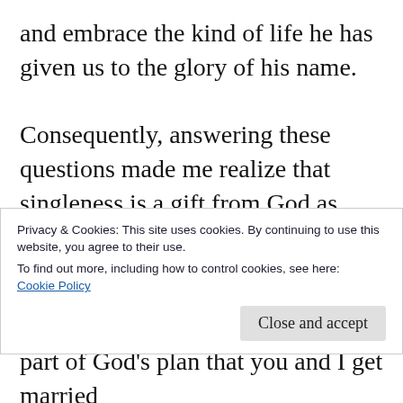and embrace the kind of life he has given us to the glory of his name.

Consequently, answering these questions made me realize that singleness is a gift from God as much as marriage is a gift from God too. Moreover, singleness is not a curse as some people may think, it is a blessing from God, and one need to embrace it.  If our identity is in Christ then we must find our fulfilment in him alone. And we need to live our singleness to the
Privacy & Cookies: This site uses cookies. By continuing to use this website, you agree to their use.
To find out more, including how to control cookies, see here: Cookie Policy
Close and accept
part of God's plan that you and I get married